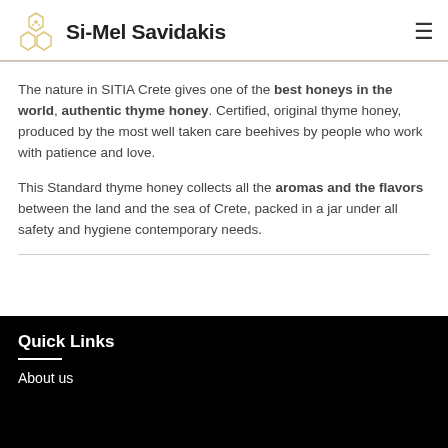Si-Mel Savidakis
The nature in SITIA Crete gives one of the best honeys in the world, authentic thyme honey. Certified, original thyme honey, produced by the most well taken care beehives by people who work with patience and love.
This Standard thyme honey collects all the aromas and the flavors between the land and the sea of Crete, packed in a jar under all safety and hygiene contemporary needs.
Quick Links
About us